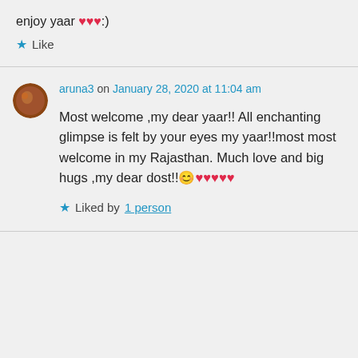enjoy yaar 💕💕💕:)
⭐ Like
aruna3 on January 28, 2020 at 11:04 am
Most welcome ,my dear yaar!! All enchanting glimpse is felt by your eyes my yaar!!most most welcome in my Rajasthan. Much love and big hugs ,my dear dost!!😊💕💕💕💕💕
⭐ Liked by 1 person